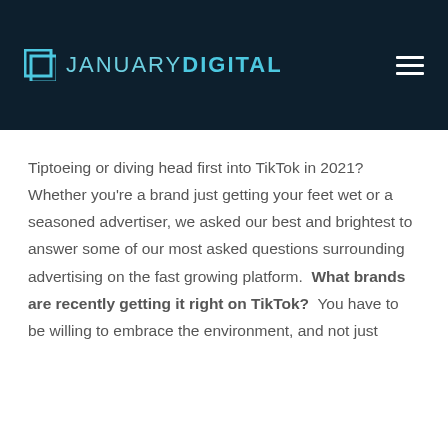JANUARY DIGITAL
Tiptoeing or diving head first into TikTok in 2021? Whether you're a brand just getting your feet wet or a seasoned advertiser, we asked our best and brightest to answer some of our most asked questions surrounding advertising on the fast growing platform.  What brands are recently getting it right on TikTok?  You have to be willing to embrace the environment, and not just